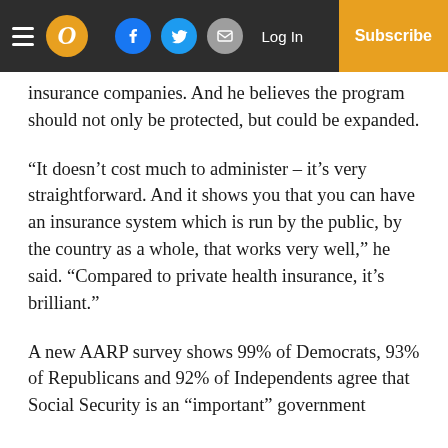Navigation bar with hamburger menu, O logo, Facebook, Twitter, Email social buttons, Log In link, and Subscribe button
insurance companies. And he believes the program should not only be protected, but could be expanded.
“It doesn’t cost much to administer – it’s very straightforward. And it shows you that you can have an insurance system which is run by the public, by the country as a whole, that works very well,” he said. “Compared to private health insurance, it’s brilliant.”
A new AARP survey shows 99% of Democrats, 93% of Republicans and 92% of Independents agree that Social Security is an “important” government